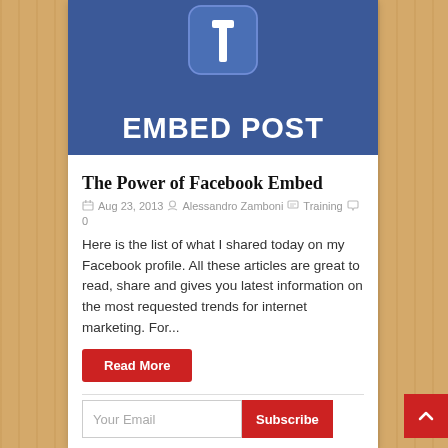[Figure (illustration): Facebook 'Embed Post' promotional banner — blue rounded square Facebook-style icon with white 'f' letter on top, and large bold white text 'EMBED POST' below, all on a dark blue (#3b5998) background]
The Power of Facebook Embed
Aug 23, 2013  Alessandro Zamboni  Training  0
Here is the list of what I shared today on my Facebook profile. All these articles are great to read, share and gives you latest information on the most requested trends for internet marketing. For...
Read More
Your Email  Subscribe